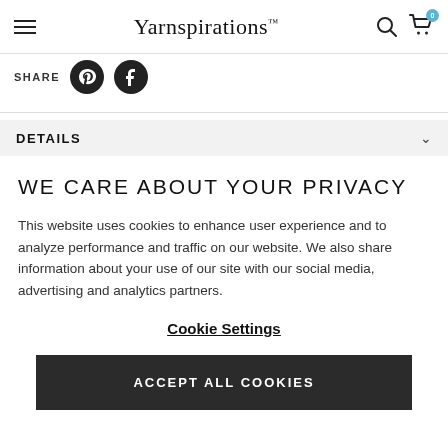Yarnspirations
SHARE
DETAILS
WE CARE ABOUT YOUR PRIVACY
This website uses cookies to enhance user experience and to analyze performance and traffic on our website. We also share information about your use of our site with our social media, advertising and analytics partners.
Cookie Settings
ACCEPT ALL COOKIES